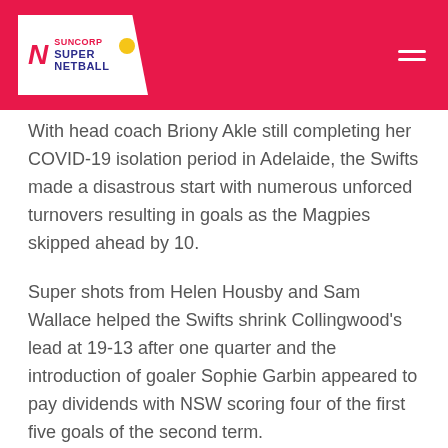Suncorp Super Netball
With head coach Briony Akle still completing her COVID-19 isolation period in Adelaide, the Swifts made a disastrous start with numerous unforced turnovers resulting in goals as the Magpies skipped ahead by 10.
Super shots from Helen Housby and Sam Wallace helped the Swifts shrink Collingwood's lead at 19-13 after one quarter and the introduction of goaler Sophie Garbin appeared to pay dividends with NSW scoring four of the first five goals of the second term.
But with Kelsey Browne and Gabi Sinclair